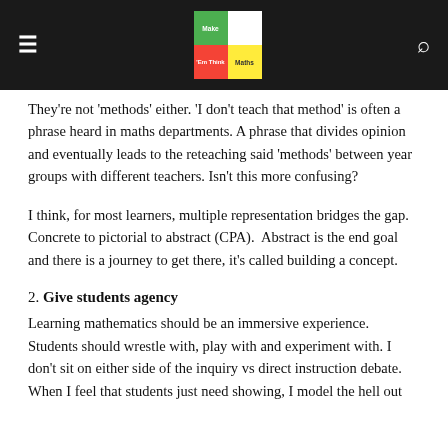Make 'Em Think Maths
They're not 'methods' either. 'I don't teach that method' is often a phrase heard in maths departments. A phrase that divides opinion and eventually leads to the reteaching said 'methods' between year groups with different teachers. Isn't this more confusing?
I think, for most learners, multiple representation bridges the gap. Concrete to pictorial to abstract (CPA).  Abstract is the end goal and there is a journey to get there, it's called building a concept.
2. Give students agency
Learning mathematics should be an immersive experience. Students should wrestle with, play with and experiment with. I don't sit on either side of the inquiry vs direct instruction debate. When I feel that students just need showing, I model the hell out